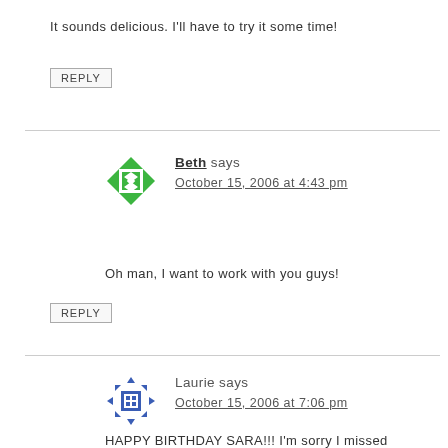It sounds delicious. I'll have to try it some time!
REPLY
Beth says
October 15, 2006 at 4:43 pm
Oh man, I want to work with you guys!
REPLY
Laurie says
October 15, 2006 at 7:06 pm
HAPPY BIRTHDAY SARA!!! I'm sorry I missed